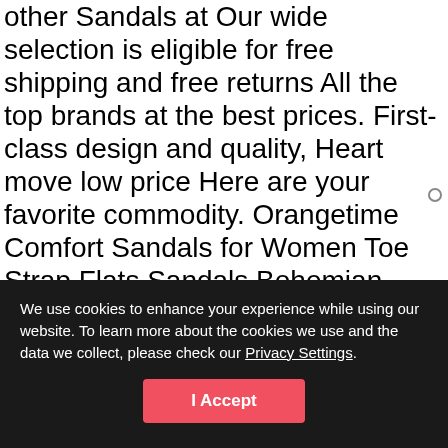other Sandals at Our wide selection is eligible for free shipping and free returns All the top brands at the best prices. First-class design and quality, Heart move low price Here are your favorite commodity. Orangetime Comfort Sandals for Women Toe Strap Flats Sandals Bohemian Rhinestone Sandals Cushioned Insole, High-End Contemporary Fashion Satisfaction Guarantee, happy shopping! Orangetime Comfort Sandals for Women Toe Strap Flats Sandals Bohemian Rhinestone Sandals Cushioned Insole.
We use cookies to enhance your experience while using our website. To learn more about the cookies we use and the data we collect, please check our Privacy Settings.
I Accept